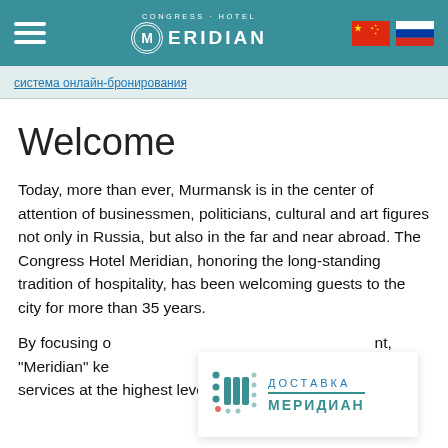Congress-Hotel Meridian — header with hamburger menu, logo, and flags (Chinese, Russian)
система онлайн-бронирования
Welcome
Today, more than ever, Murmansk is in the center of attention of businessmen, politicians, cultural and art figures not only in Russia, but also in the far and near abroad. The Congress Hotel Meridian, honoring the long-standing tradition of hospitality, has been welcoming guests to the city for more than 35 years.
By focusing on [delivery overlay] nt, "Meridian" kee [delivery overlay] rovide services at the highest level.
[Figure (logo): Доставка Меридиан delivery service logo with teal dots/bars icon and Cyrillic text ДОСТАВКА МЕРИДИАН]